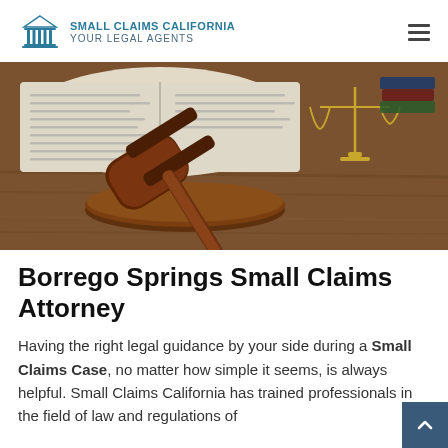SMALL CLAIMS CALIFORNIA YOUR LEGAL AGENTS
[Figure (photo): A wooden judge's gavel resting on a sound block on a wooden table, with an open law book and golden scales of justice in the background.]
Borrego Springs Small Claims Attorney
Having the right legal guidance by your side during a Small Claims Case, no matter how simple it seems, is always helpful. Small Claims California has trained professionals in the field of law and regulations of